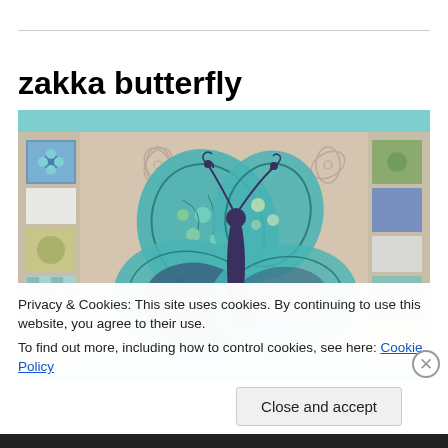zakka butterfly
[Figure (photo): A quilt table runner featuring a large appliqué butterfly in teal, purple, green and dark tones, centered on a beige quilted background with embroidered flower motifs. Patchwork fabric strips in teal, floral, striped and green patterns border the left and right sides. The quilt has a teal binding edge.]
Privacy & Cookies: This site uses cookies. By continuing to use this website, you agree to their use.
To find out more, including how to control cookies, see here: Cookie Policy
Close and accept